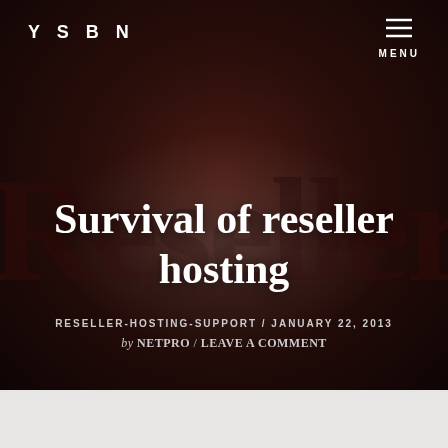YSBN
MENU
[Figure (illustration): Dark red/brown textured hero background with large decorative text 'Reseller' in dark letters and a soft glowing radial highlight in the center]
Survival of reseller hosting
RESELLER-HOSTING-SUPPORT / JANUARY 22, 2013 by NETPRO / LEAVE A COMMENT